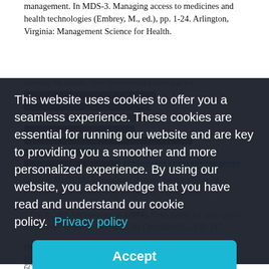management. In MDS-3. Managing access to medicines and health technologies (Embrey, M., ed.), pp. 1-24. Arlington, Virginia: Management Science for Health.
[Redacted reference - Doszyn, M. (2018). New forecasting technique for... An ... link]
Doszyn, M. (2019). Intermittent demand forecasting in the pharmaceutical market... Forecasting,
...Gu, A., and Jammernegg, F. (2004). Forecasting for spare parts with lumpy demand. Journal of the Operational ... 141-147
...and Masoud, S. (2016). Forecasting spare parts demand using statistical analysis. American Journal of Operations Research, 6(2), 113-120.
This website uses cookies to offer you a seamless experience. These cookies are essential for running our website and are key to providing you a smoother and more personalized experience. By using our website, you acknowledge that you have read and understand our cookie policy.
Privacy policy
Accept
Hyndman, R. J., and Koehler A. B.